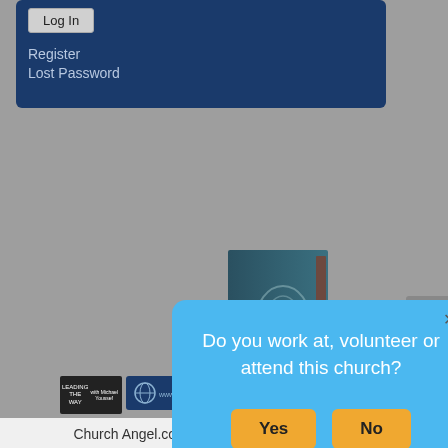[Figure (screenshot): Top portion of a website with a dark blue panel containing a Login button, Register link, and Lost Password link on a gray background]
Register
Lost Password
[Figure (screenshot): A light blue modal dialog box asking 'Do you work at, volunteer or attend this church?' with Yes and No buttons, overlaid on a gray page background with an advertisement showing 'Get my copy!' button and a book image below]
Do you work at, volunteer or attend this church?
Church Angel.com is a directory of churches and